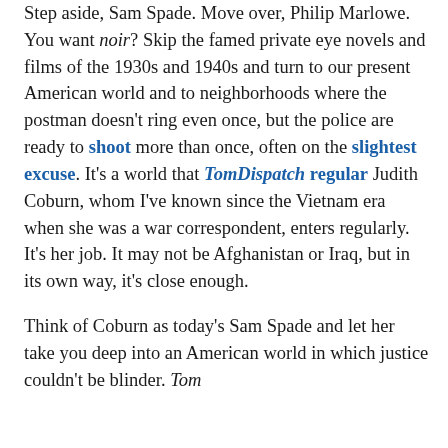Step aside, Sam Spade. Move over, Philip Marlowe. You want noir? Skip the famed private eye novels and films of the 1930s and 1940s and turn to our present American world and to neighborhoods where the postman doesn't ring even once, but the police are ready to shoot more than once, often on the slightest excuse. It's a world that TomDispatch regular Judith Coburn, whom I've known since the Vietnam era when she was a war correspondent, enters regularly. It's her job. It may not be Afghanistan or Iraq, but in its own way, it's close enough.
Think of Coburn as today's Sam Spade and let her take you deep into an American world in which justice couldn't be blinder. Tom